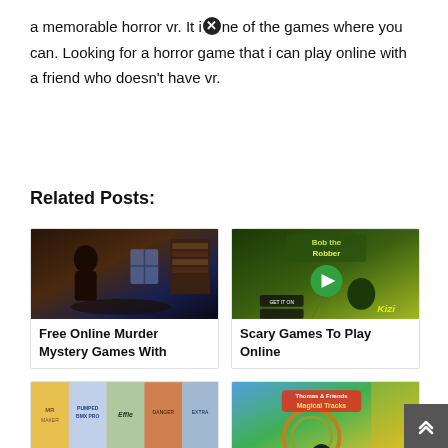a memorable horror vr. It is one of the games where you can. Looking for a horror game that i can play online with a friend who doesn't have vr.
Related Posts:
[Figure (photo): Dark mystery game screenshot showing a woman with dark hair in a cluttered room with a bookshelf.]
Free Online Murder Mystery Games With
[Figure (screenshot): Bob the Robber game screenshot on Kizi platform with green/yellow background and play button.]
Scary Games To Play Online
[Figure (screenshot): Mobile app store games collage with multiple game thumbnails including BMX Pro and Effie.]
[Figure (screenshot): Thomas & Friends Magical Tracks game screenshot with colorful train track layout.]